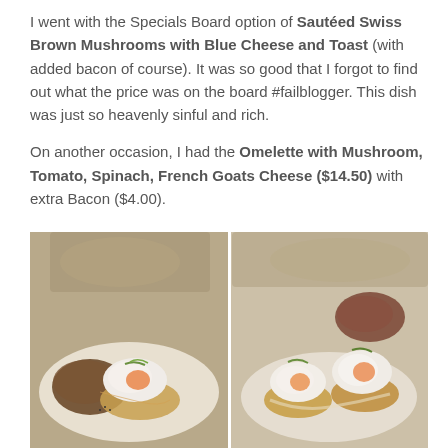I went with the Specials Board option of Sautéed Swiss Brown Mushrooms with Blue Cheese and Toast (with added bacon of course). It was so good that I forgot to find out what the price was on the board #failblogger. This dish was just so heavenly sinful and rich.

On another occasion, I had the Omelette with Mushroom, Tomato, Spinach, French Goats Cheese ($14.50) with extra Bacon ($4.00).
[Figure (photo): Two food photos side by side showing plated dishes with poached eggs on toast/potato cakes with bacon, served on white plates.]